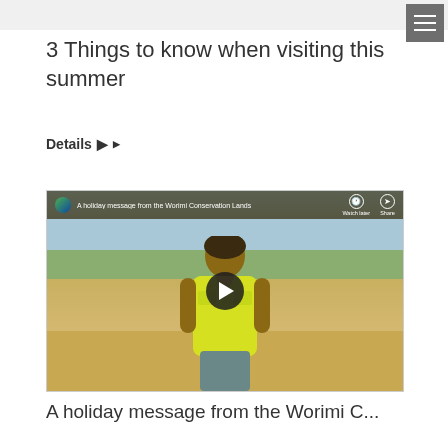3 Things to know when visiting this summer
Details ▶
[Figure (screenshot): YouTube video thumbnail showing a person in a yellow shirt standing on a beach with sand dunes and ocean in the background. Video title reads 'A holiday message from the Worimi Conservation Lands'. A play button is visible in the center.]
A holiday message from the Worimi C...